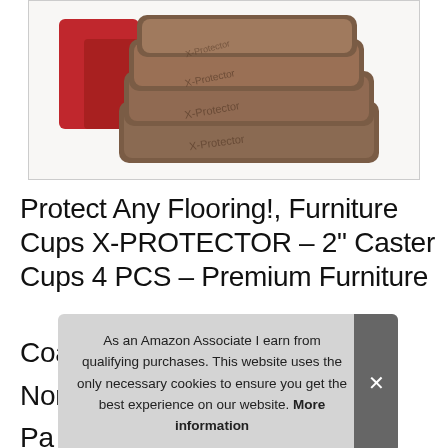[Figure (photo): Stacked brown X-PROTECTOR furniture cups/caster cups with a red item partially visible on the left, product photo on white background]
Protect Any Flooring!, Furniture Cups X-PROTECTOR – 2" Caster Cups 4 PCS – Premium Furniture Coasters – Ideal Bed Stoppers – Non-Skid Furniture Pads – Best Floor Protectors For Hardwood Floors – Furniture Cups
As an Amazon Associate I earn from qualifying purchases. This website uses the only necessary cookies to ensure you get the best experience on our website. More information